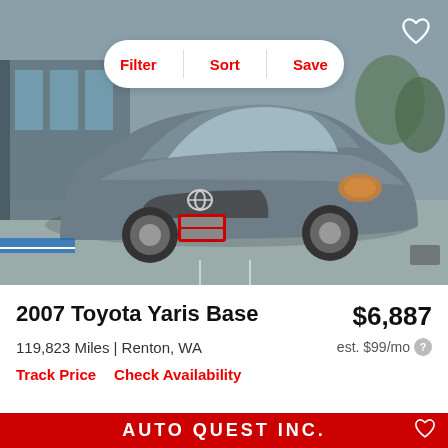[Figure (photo): Photo of a 2007 Toyota Yaris Base in gray/silver color, parked in a dealer lot. Filter, Sort, Save buttons overlay the top of the photo. Heart/favorite icon in top right corner.]
2007 Toyota Yaris Base
$6,887
119,823 Miles | Renton, WA
est. $99/mo
Track Price   Check Availability
[Figure (photo): Partial photo of another car listing showing AUTO QUEST INC. dealer sign in red at the top, and a gray/white car image below.]